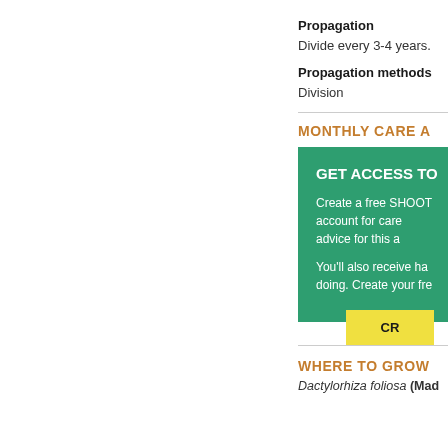Propagation
Divide every 3-4 years.
Propagation methods
Division
MONTHLY CARE A
[Figure (infographic): Green promotional box with heading 'GET ACCESS TO', body text about creating a free SHOOT account for care advice and monthly reminders, and a yellow CTA button labeled 'CR']
WHERE TO GROW
Dactylorhiza foliosa (Mad